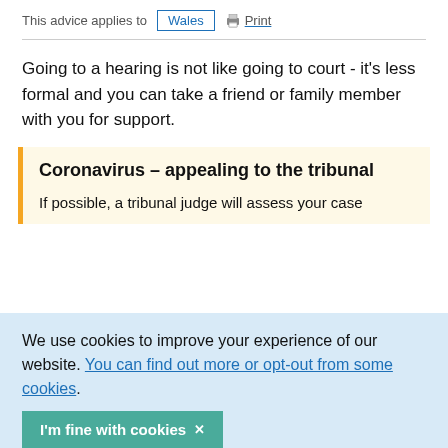This advice applies to Wales  Print
Going to a hearing is not like going to court - it's less formal and you can take a friend or family member with you for support.
Coronavirus – appealing to the tribunal
If possible, a tribunal judge will assess your case
We use cookies to improve your experience of our website. You can find out more or opt-out from some cookies.
I'm fine with cookies ×